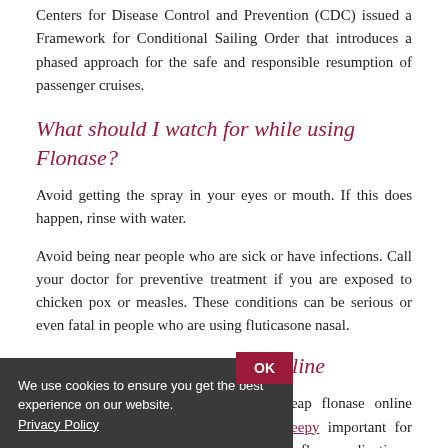Centers for Disease Control and Prevention (CDC) issued a Framework for Conditional Sailing Order that introduces a phased approach for the safe and responsible resumption of passenger cruises.
What should I watch for while using Flonase?
Avoid getting the spray in your eyes or mouth. If this does happen, rinse with water.
Avoid being near people who are sick or have infections. Call your doctor for preventive treatment if you are exposed to chicken pox or measles. These conditions can be serious or even fatal in people who are using fluticasone nasal.
How to buy cheap flonase online
Kidneys that function how to buy cheap flonase online properly are does flonase make you sleepy important for protecting people at high risk for serious flu complications. April is National Child Abuse Prevention Month. Get the facts about this condition.